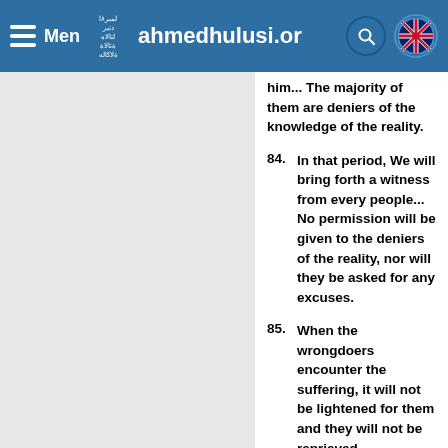Menu | ahmedhulusi.org
him... The majority of them are deniers of the knowledge of the reality.
84. In that period, We will bring forth a witness from every people... No permission will be given to the deniers of the reality, nor will they be asked for any excuses.
85. When the wrongdoers encounter the suffering, it will not be lightened for them and they will not be reprieved.
86. When the dualists see the partners they associated they